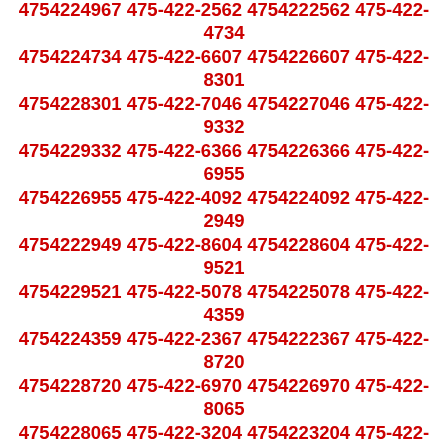4754224967 475-422-2562 4754222562 475-422-4734 4754224734 475-422-6607 4754226607 475-422-8301 4754228301 475-422-7046 4754227046 475-422-9332 4754229332 475-422-6366 4754226366 475-422-6955 4754226955 475-422-4092 4754224092 475-422-2949 4754222949 475-422-8604 4754228604 475-422-9521 4754229521 475-422-5078 4754225078 475-422-4359 4754224359 475-422-2367 4754222367 475-422-8720 4754228720 475-422-6970 4754226970 475-422-8065 4754228065 475-422-3204 4754223204 475-422-4314 4754224314 475-422-2774 4754222774 475-422-5189 4754225189 475-422-3403 4754223403 475-422-8482 4754228482 475-422-1462 4754221462 475-422-7255 4754227255 475-422-3973 4754223973 475-422-3759 4754223759 475-422-1535 4754221535 475-422-3892 4754223892 475-422-5082 4754225082 475-422-9563 4754229563 475-422-0999 4754220999 475-422-7589 4754227589 475-422-7165 4754227165 475-422-6478 4754226478 475-422-1226 4754221226 475-422-1057 4754221057 475-422-6827 4754226827 475-422-2395 4754222395 475-422-0264 4754220264 475-422-8117 4754228117 475-422-1109 4754221109 475-422-4304 4754224304 475-422-7260 4754227260 475-422-5051 4754225051 475-422-8642 4754228642 475-422-2894 4754222894 475-422-7622 4754227622 475-422-6364 4754226364 475-422-4535 4754224535 475-422-8836